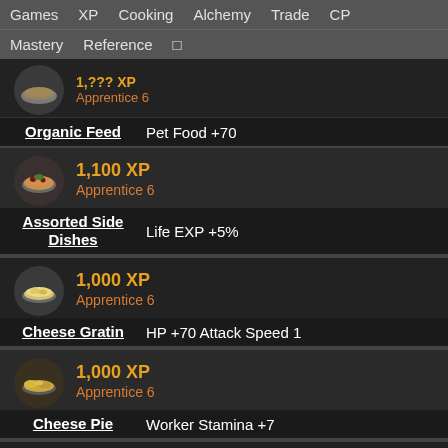Games  XP  Cooking  Alchemy  Trade  CP  Mastery  Reference
[Figure (illustration): Pet food bowl icon, partially visible at top]
1,??? XP  Apprentice 6
Organic Feed  Pet Food +70
[Figure (illustration): Roasted chicken on plate icon]
1,100 XP  Apprentice 6
Assorted Side Dishes  Life EXP +5%
[Figure (illustration): Pasta or salad dish icon]
1,000 XP  Apprentice 6
Cheese Gratin  HP +70 Attack Speed 1
[Figure (illustration): Cheese pie or empanada icon]
1,000 XP  Apprentice 6
Cheese Pie  Worker Stamina +7
[Figure (illustration): Dark pudding dessert icon]
1,000 XP  Skilled 1
Dark Pudding  AP +2 DMG Against Humans +2